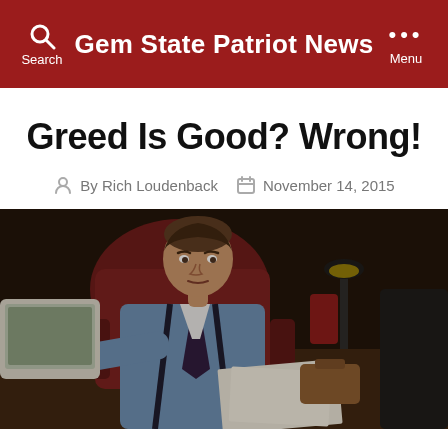Gem State Patriot News
Greed Is Good? Wrong!
By Rich Loudenback  November 14, 2015
[Figure (photo): A man in suspenders and a dark tie sitting at a desk with papers and a computer, resembling a scene from a 1980s financial movie (Wall Street).]